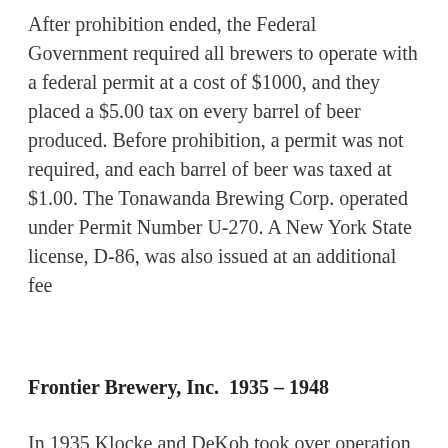After prohibition ended, the Federal Government required all brewers to operate with a federal permit at a cost of $1000, and they placed a $5.00 tax on every barrel of beer produced. Before prohibition, a permit was not required, and each barrel of beer was taxed at $1.00. The Tonawanda Brewing Corp. operated under Permit Number U-270. A New York State license, D-86, was also issued at an additional fee
Frontier Brewery, Inc.  1935 – 1948
In 1935 Klocke and DeKob took over operation of the brewery and changed the name to the Frontier